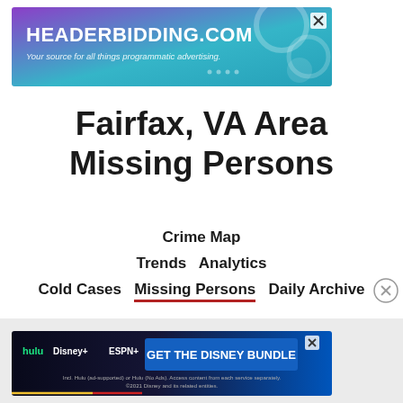[Figure (other): HEADERBIDDING.COM advertisement banner - Your source for all things programmatic advertising.]
Fairfax, VA Area Missing Persons
Crime Map
Trends   Analytics
Cold Cases   Missing Persons   Daily Archive
[Figure (other): Disney Bundle advertisement - GET THE DISNEY BUNDLE with hulu, Disney+, ESPN+. Incl. Hulu (ad-supported) or Hulu (No Ads). Access content from each service separately. ©2021 Disney and its related entities.]